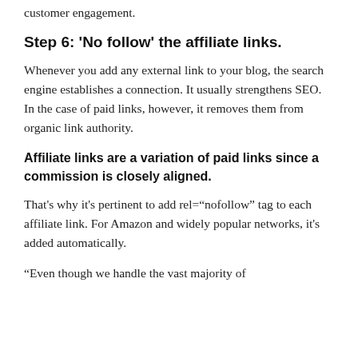customer engagement.
Step 6: 'No follow' the affiliate links.
Whenever you add any external link to your blog, the search engine establishes a connection. It usually strengthens SEO. In the case of paid links, however, it removes them from organic link authority.
Affiliate links are a variation of paid links since a commission is closely aligned.
That's why it's pertinent to add rel="nofollow" tag to each affiliate link. For Amazon and widely popular networks, it's added automatically.
“Even though we handle the vast majority of